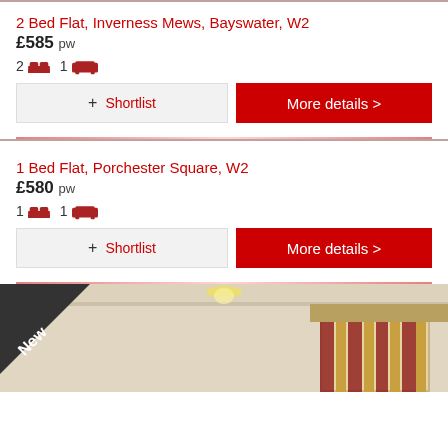2 Bed Flat, Inverness Mews, Bayswater, W2
£585 pw
2 bed, 1 reception
Shortlist | More details >
1 Bed Flat, Porchester Square, W2
£580 pw
1 bed, 1 reception
Shortlist | More details >
[Figure (photo): Interior bedroom photo with curtains, tagged as New]